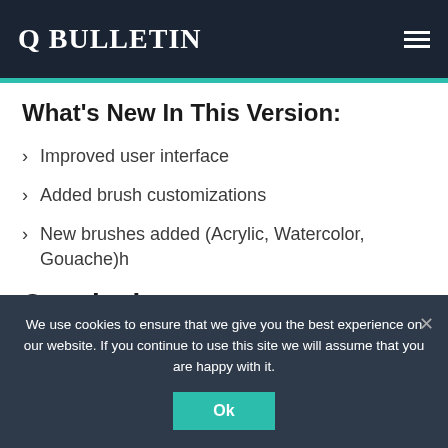Q BULLETIN
What's New In This Version:
Improved user interface
Added brush customizations
New brushes added (Acrylic, Watercolor, Gouache)h
Conclusion
Ibis Paint X Apto offers an incredible painting and drawing experience that you can't find in any other app on the store. It's
We use cookies to ensure that we give you the best experience on our website. If you continue to use this site we will assume that you are happy with it.